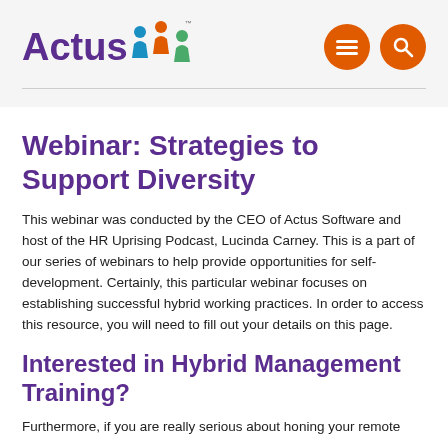[Figure (logo): Actus Software logo with purple text and colorful people icon, plus orange menu and search circle buttons in top right]
Webinar: Strategies to Support Diversity
This webinar was conducted by the CEO of Actus Software and host of the HR Uprising Podcast, Lucinda Carney. This is a part of our series of webinars to help provide opportunities for self-development. Certainly, this particular webinar focuses on establishing successful hybrid working practices. In order to access this resource, you will need to fill out your details on this page.
Interested in Hybrid Management Training?
Furthermore, if you are really serious about honing your remote